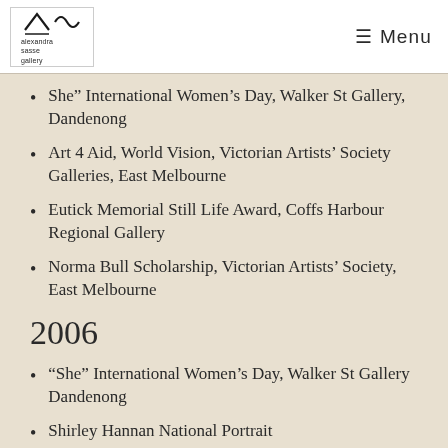alexandra sasse gallery | Menu
She” International Women’s Day, Walker St Gallery, Dandenong
Art 4 Aid, World Vision, Victorian Artists’ Society Galleries, East Melbourne
Eutick Memorial Still Life Award, Coffs Harbour Regional Gallery
Norma Bull Scholarship, Victorian Artists’ Society, East Melbourne
2006
“She” International Women’s Day, Walker St Gallery Dandenong
Shirley Hannan National Portrait